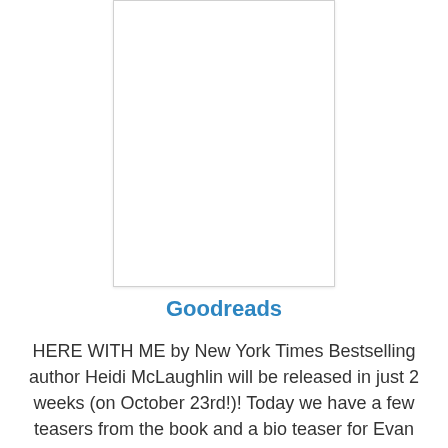[Figure (illustration): Book cover image placeholder (white rectangle with border) for HERE WITH ME by Heidi McLaughlin]
Goodreads
HERE WITH ME by New York Times Bestselling author Heidi McLaughlin will be released in just 2 weeks (on October 23rd!)! Today we have a few teasers from the book and a bio teaser for Evan Archer.